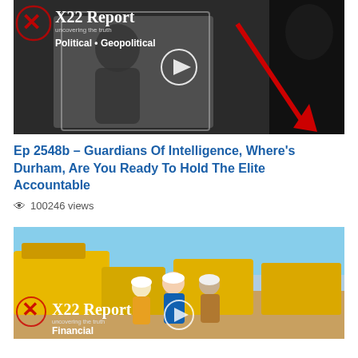[Figure (screenshot): X22 Report video thumbnail - black and white image of a person at a mirror with X22 Report Political Geopolitical branding overlay and play button]
Ep 2548b – Guardians Of Intelligence, Where's Durham, Are You Ready To Hold The Elite Accountable
100246 views
[Figure (screenshot): X22 Report video thumbnail - construction site with yellow machinery and workers in hard hats with X22 Report Financial branding overlay and play button]